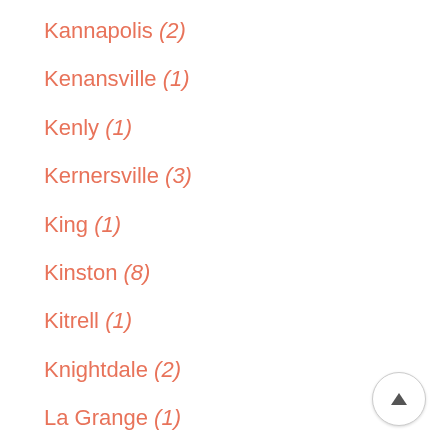Kannapolis (2)
Kenansville (1)
Kenly (1)
Kernersville (3)
King (1)
Kinston (8)
Kitrell (1)
Knightdale (2)
La Grange (1)
Laurinburg (4)
Leland (2)